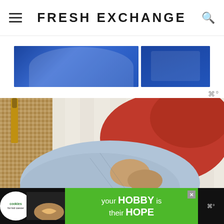FRESH EXCHANGE
[Figure (photo): Two cropped photos on blue background, showing a child with a bow tie and another person, partial view]
[Figure (photo): Overhead view of two people lying on a wooden deck floor next to a woven rug, one wearing a red shirt and one in a light blue shirt, with a beer bottle visible]
[Figure (infographic): Advertisement banner: cookies for kid cancer logo on left, green background with text 'your HOBBY is their HOPE', close X button]